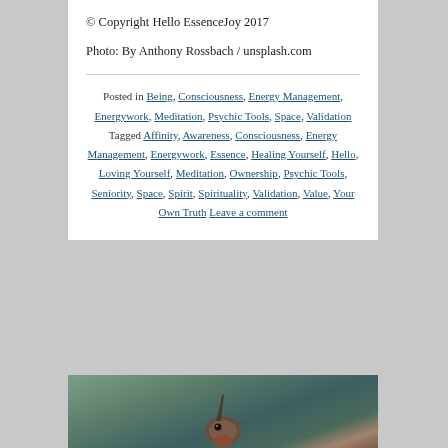© Copyright Hello EssenceJoy 2017
Photo: By Anthony Rossbach / unsplash.com
Posted in Being, Consciousness, Energy Management, Energywork, Meditation, Psychic Tools, Space, Validation Tagged Affinity, Awareness, Consciousness, Energy Management, Energywork, Essence, Healing Yourself, Hello, Loving Yourself, Meditation, Ownership, Psychic Tools, Seniority, Space, Spirit, Spirituality, Validation, Value, Your Own Truth Leave a comment
[Figure (photo): Close-up photo of a hummingbird with blurred green and brown background, showing the bird's head and long beak pointing upward]